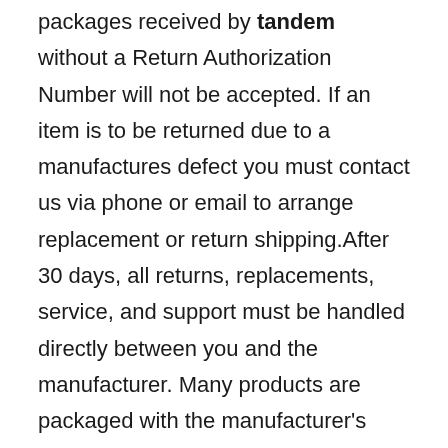packages received by tandem without a Return Authorization Number will not be accepted. If an item is to be returned due to a manufactures defect you must contact us via phone or email to arrange replacement or return shipping.After 30 days, all returns, replacements, service, and support must be handled directly between you and the manufacturer. Many products are packaged with the manufacturer's warranty and service information detailing specific terms and conditions. Manufacturers' warranties may vary from product to product.ALL PRODUCTS AND SERVICES SOLD BY tandem ARE SUBJECT TO ANY APPLICABLE WARRANTIES AND REPRESENTATIONS OF THEIR RESPECTIVE MANUFACTURERS, INCLUDING BUT NOT LIMITED TO YEAR 2024 COMPLIANCE, ACCORDINGLY...